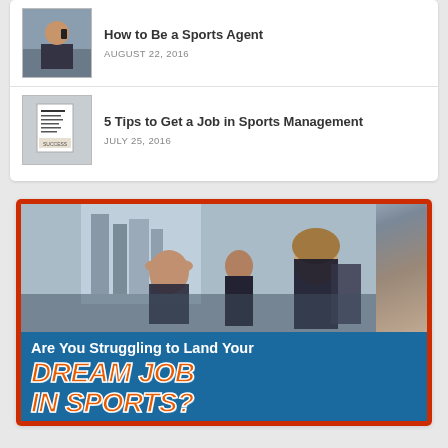[Figure (photo): Thumbnail of man on phone, professional]
How to Be a Sports Agent
AUGUST 22, 2016
[Figure (photo): Thumbnail of motivation/success document]
5 Tips to Get a Job in Sports Management
JULY 25, 2016
[Figure (infographic): Advertisement image showing stressed professionals with text 'Are You Struggling to Land Your DREAM JOB IN SPORTS?']